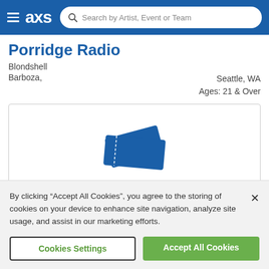[Figure (screenshot): AXS website navigation bar with hamburger menu, AXS logo, and search bar reading 'Search by Artist, Event or Team']
Porridge Radio
Blondshell
Barboza,					Seattle, WA
					Ages: 21 & Over
[Figure (illustration): Blue ticket icon showing two overlapping tickets with dashed perforation lines, and the word TICKETS in bold blue uppercase letters below]
By clicking "Accept All Cookies", you agree to the storing of cookies on your device to enhance site navigation, analyze site usage, and assist in our marketing efforts.
Cookies Settings
Accept All Cookies